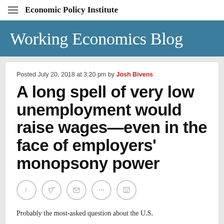Economic Policy Institute
Working Economics Blog
Posted July 20, 2018 at 3:20 pm by Josh Bivens
A long spell of very low unemployment would raise wages—even in the face of employers' monopsony power
[Figure (other): Social sharing icons: Facebook, Twitter, Email, More, Print]
Probably the most-asked question about the U.S.